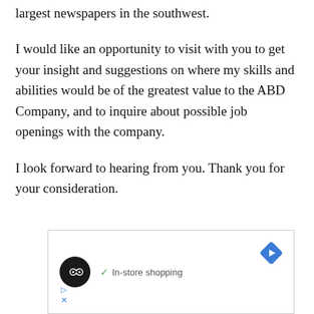largest newspapers in the southwest.
I would like an opportunity to visit with you to get your insight and suggestions on where my skills and abilities would be of the greatest value to the ABD Company, and to inquire about possible job openings with the company.
I look forward to hearing from you. Thank you for your consideration.
[Figure (other): Advertisement box with a black circle logo containing a double arrow/infinity-like symbol, a checkmark with 'In-store shopping' text, a navigation/directions diamond icon, a play button icon, and an X close icon.]